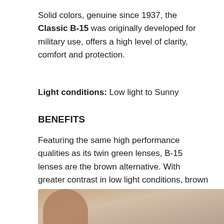Solid colors, genuine since 1937, the Classic B-15 was originally developed for military use, offers a high level of clarity, comfort and protection.
Light conditions: Low light to Sunny
BENEFITS
Featuring the same high performance qualities as its twin green lenses, B-15 lenses are the brown alternative. With greater contrast in low light conditions, brown lenses give you the power to see more clearly.
[Figure (photo): Partial product image showing a brown lens against a light gray/beige background, cropped at bottom of page]